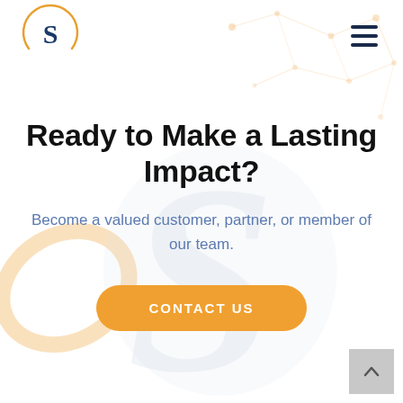[Figure (logo): Circular logo with letter S inside, orange arc on bottom, dark blue S letter]
[Figure (infographic): Hamburger menu icon (three horizontal dark navy bars)]
[Figure (illustration): Decorative background with light network/constellation lines and dots top-right, faint S watermark center, orange arc lower-left]
Ready to Make a Lasting Impact?
Become a valued customer, partner, or member of our team.
CONTACT US
[Figure (other): Back to top button, light gray square with upward chevron arrow]